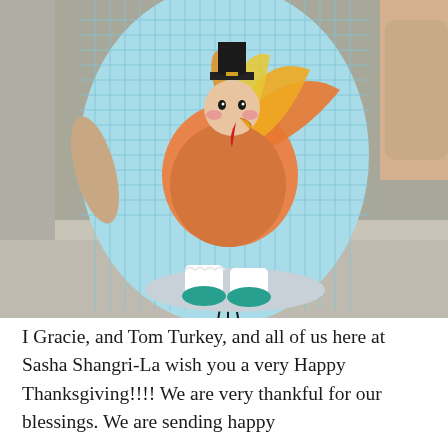[Figure (photo): Close-up photo of a decorative doll figure wearing a light blue gingham/checkered dress, holding a colorful turkey decoration. The turkey has orange and red feathers. The doll has lace socks and teal shoes, standing on a round base. Background shows concrete steps.]
I Gracie, and Tom Turkey, and all of us here at Sasha Shangri-La wish you a very Happy Thanksgiving!!!!  We are very thankful for our blessings. We are sending happy